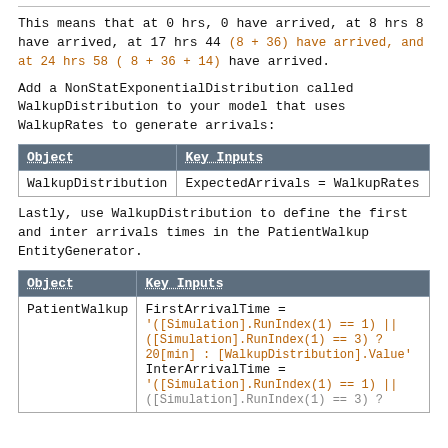This means that at 0 hrs, 0 have arrived, at 8 hrs 8 have arrived, at 17 hrs 44 (8 + 36) have arrived, and at 24 hrs 58 ( 8 + 36 + 14) have arrived.
Add a NonStatExponentialDistribution called WalkupDistribution to your model that uses WalkupRates to generate arrivals:
| Object | Key Inputs |
| --- | --- |
| WalkupDistribution | ExpectedArrivals = WalkupRates |
Lastly, use WalkupDistribution to define the first and inter arrivals times in the PatientWalkup EntityGenerator.
| Object | Key Inputs |
| --- | --- |
| PatientWalkup | FirstArrivalTime =
'([Simulation].RunIndex(1) == 1) || ([Simulation].RunIndex(1) == 3) ? 20[min] : [WalkupDistribution].Value'
InterArrivalTime =
'([Simulation].RunIndex(1) == 1) || ([Simulation].RunIndex(1) == 3) ? |